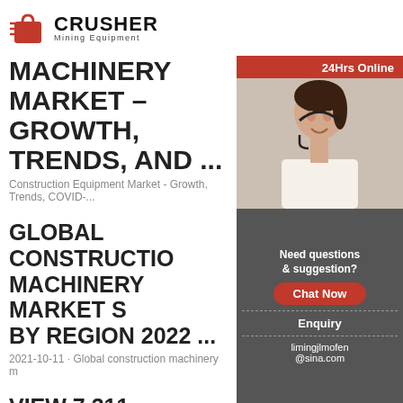[Figure (logo): Crusher Mining Equipment logo with red shopping bag icon and bold text]
MACHINERY MARKET – GROWTH, TRENDS, AND ...
Construction Equipment Market - Growth, Trends, COVID-...
GLOBAL CONSTRUCTION MACHINERY MARKET S BY REGION 2022 ...
2021-10-11 · Global construction machinery m
VIEW 7,311 CONSTRUC MACHINES – COMPAR PRICES ON
[Figure (photo): 24Hrs Online customer service representative wearing headset, smiling woman photo with red top bar saying 24Hrs Online, gray bottom panel with Need questions & suggestion?, Chat Now button, Enquiry section, and limingjlmofen@sina.com email]